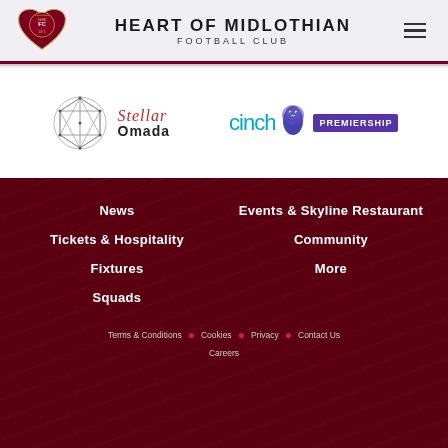HEART OF MIDLOTHIAN FOOTBALL CLUB
[Figure (logo): Stellar Omada sponsor logo with geometric sphere icon and italic/serif wordmark]
[Figure (logo): cinch Premiership logo with lion mascot and purple text]
News
Events & Skyline Restaurant
Tickets & Hospitality
Community
Fixtures
More
Squads
Terms & Conditions · Cookies · Privacy · Contact Us · Careers